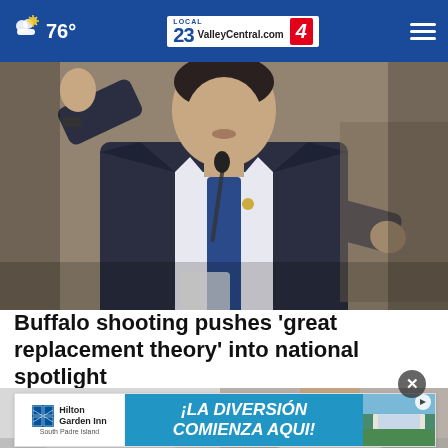76° ValleyCentral.com 23 4
[Figure (photo): Man in dark suit with blue tie, speaking at a microphone, raising one hand, appears to be testifying or speaking at a formal hearing]
Buffalo shooting pushes ‘great replacement theory’ into national spotlight
[Figure (photo): Close-up of white sneakers on pavement]
[Figure (other): Advertisement for Hilton Garden Inn South Padre Island: '¡LA DIVERSION COMIENZA AQUI!']